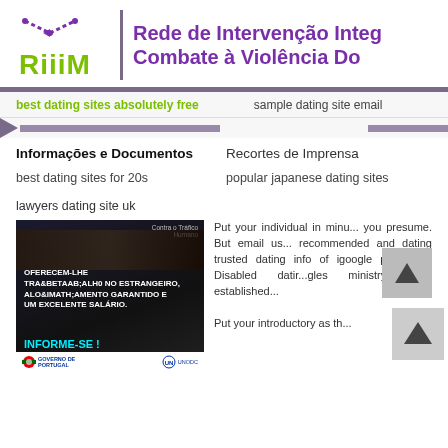RiiiM — Rede de Intervenção Integrada no Combate à Violência Do...
best dating sites absolutely free
sample dating site email
Informações e Documentos
Recortes de Imprensa
best dating sites for 20s
popular japanese dating sites
lawyers dating site uk
[Figure (photo): Anti-trafficking awareness poster in Portuguese: 'OFERECEM-LHE TRABALHO NO ESTRANGEIRO, ALOJAMENTO GARANTIDO E UM EXCELENTE SALÁRIO. INFORME-SE!' with logos of Governo de Portugal and UNODC]
Put your individual in minu... you presume. But email us... recommended and dating trusted dating info of igoogle pa... only Disabled datir...gles ministry more established...
Put your introductory as th...